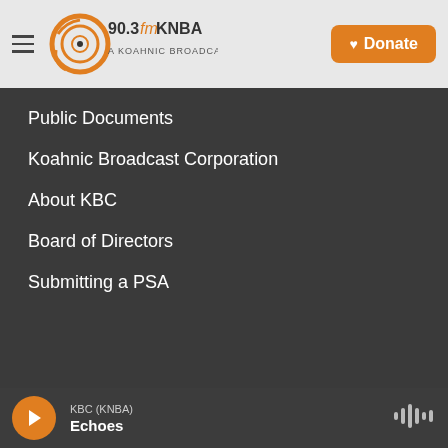90.3fm KNBA – A Koahnic Broadcast Station | Donate
Public Documents
Koahnic Broadcast Corporation
About KBC
Board of Directors
Submitting a PSA
[Figure (logo): NPR, CPB, and PRI logos in a dark footer strip]
KBC (KNBA) – Echoes (audio player bar)